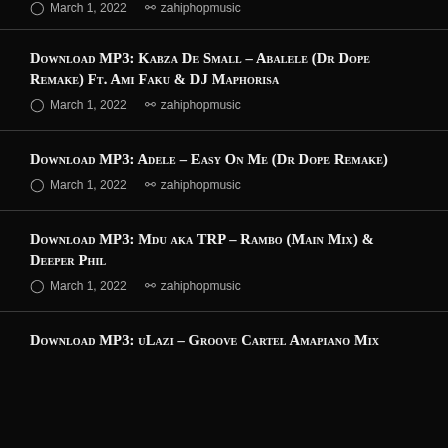March 1, 2022  zahiphopmusic
DOWNLOAD MP3: Kabza De Small – Abalele (Dr Dope Remake) Ft. Ami Faku & DJ Maphorisa
March 1, 2022  zahiphopmusic
DOWNLOAD MP3: Adele – Easy On Me (Dr Dope Remake)
March 1, 2022  zahiphopmusic
DOWNLOAD MP3: Mdu aka TRP – Rambo (Main Mix) & Deeper Phil
March 1, 2022  zahiphopmusic
DOWNLOAD MP3: uLazi – Groove Cartel Amapiano Mix